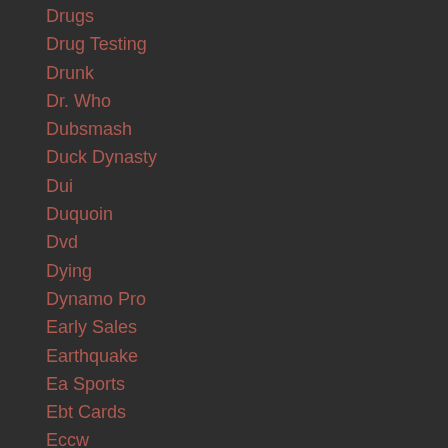Drugs
Drug Testing
Drunk
Dr. Who
Dubsmash
Duck Dynasty
Dui
Duquoin
Dvd
Dying
Dynamo Pro
Early Sales
Earthquake
Ea Sports
Ebt Cards
Eccw
Echele
E-cigarettes
Ed
Ed Reggi
Edward Snowden